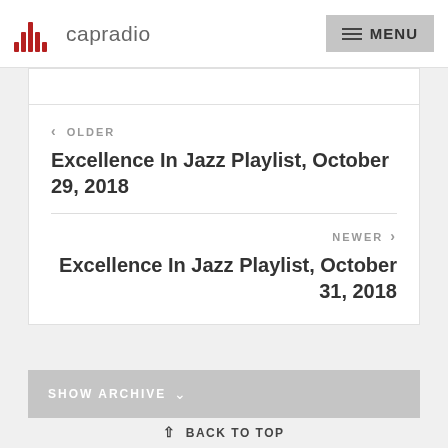capradio  MENU
‹ OLDER
Excellence In Jazz Playlist, October 29, 2018
NEWER ›
Excellence In Jazz Playlist, October 31, 2018
SHOW ARCHIVE ˅
↑ BACK TO TOP